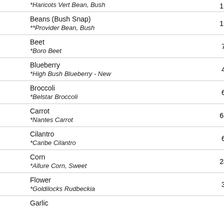| Crop / Variety | Count |
| --- | --- |
| Haricots Vert Bean, Bush (partial) | 15 |
| Beans (Bush Snap) / **Provider Bean, Bush | 15 |
| Beet / *Boro Beet | 7 |
| Blueberry / *High Bush Blueberry - New | 4 |
| Broccoli / *Belstar Broccoli | 6 |
| Carrot / *Nantes Carrot | 63 |
| Cilantro / *Caribe Cilantro | 6 |
| Corn / *Allure Corn, Sweet | 24 |
| Flower / *Goldilocks Rudbeckia | 3 |
| Garlic |  |